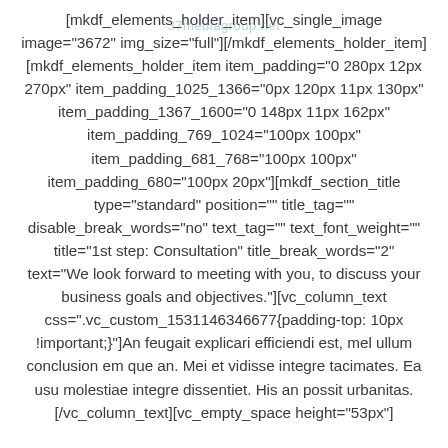[mkdf_elements_holder_item][vc_single_image image="3672" img_size="full"][/mkdf_elements_holder_item] [mkdf_elements_holder_item item_padding="0 280px 12px 270px" item_padding_1025_1366="0px 120px 11px 130px" item_padding_1367_1600="0 148px 11px 162px" item_padding_769_1024="100px 100px" item_padding_681_768="100px 100px" item_padding_680="100px 20px"][mkdf_section_title type="standard" position="" title_tag="" disable_break_words="no" text_tag="" text_font_weight="" title="1st step: Consultation" title_break_words="2" text="We look forward to meeting with you, to discuss your business goals and objectives."][vc_column_text css=".vc_custom_1531146346677{padding-top: 10px !important;}"]An feugait explicari efficiendi est, mel ullum conclusion em que an. Mei et vidisse integre tacimates. Ea usu molestiae integre dissentiet. His an possit urbanitas. [/vc_column_text][vc_empty_space height="53px"]